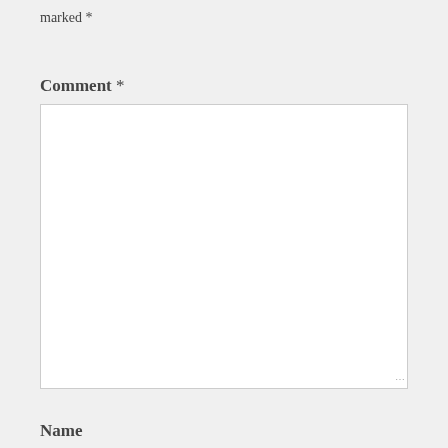marked *
Comment *
[Figure (other): Empty comment text area input box with resize handle]
Name